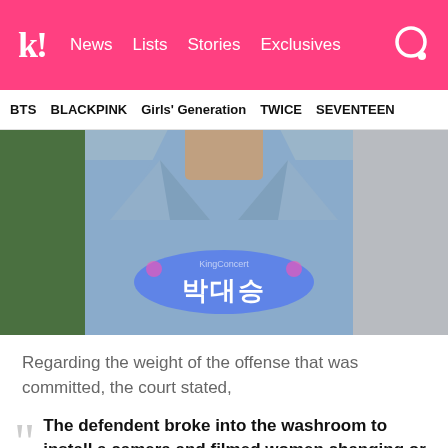k! News Lists Stories Exclusives
BTS  BLACKPINK  Girls' Generation  TWICE  SEVENTEEN
[Figure (photo): A man in a light blue collared shirt with his head cropped out. A name tag overlay reads '박대승' (Park Dae-seung) in Korean with a blue glow effect. Watermark: KingConcert.]
Regarding the weight of the offense that was committed, the court stated,
The defendent broke into the washroom to install a camera and filmed women changing or going to the